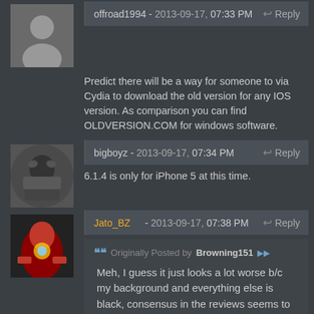[Figure (photo): Gray placeholder avatar icon for user offroad1994]
offroad1994 - 2013-09-17, 07:33 PM
Reply
Predict there will be a way for someone to via Cydia to download the old version for any IOS version. As comparison you can find OLDVERSION.COM for windows software.
[Figure (photo): Profile photo of a young boy for user bigboyz]
bigboyz - 2013-09-17, 07:34 PM
Reply
6.1.4 is only for iPhone 5 at this time.
[Figure (photo): Iron Man profile picture for user Jato_BZ]
Jato_BZ - 2013-09-17, 07:38 PM
Reply
Originally Posted by Browning151
Meh, I guess it just looks a lot worse b/c my background and everything else is black, consensus in the reviews seems to like the old icon better last I checked. Oh well, can't please everyone. If I could find the location of Chrome using